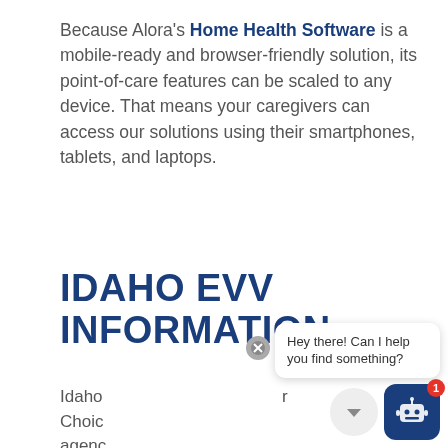Because Alora's Home Health Software is a mobile-ready and browser-friendly solution, its point-of-care features can be scaled to any device. That means your caregivers can access our solutions using their smartphones, tablets, and laptops.
IDAHO EVV INFORMATION
Idaho ... Consumer-Direction ... Choice ... agency ... of their choosing and...